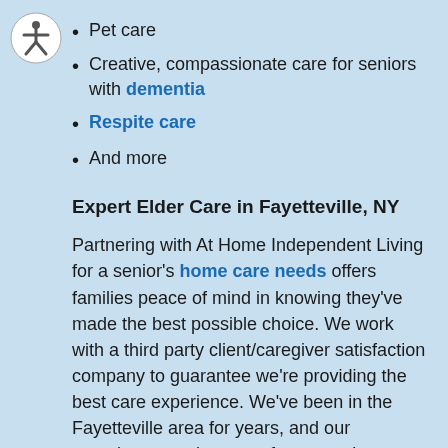Pet care
Creative, compassionate care for seniors with dementia
Respite care
And more
Expert Elder Care in Fayetteville, NY
Partnering with At Home Independent Living for a senior's home care needs offers families peace of mind in knowing they've made the best possible choice. We work with a third party client/caregiver satisfaction company to guarantee we're providing the best care experience. We've been in the Fayetteville area for years, and our caregivers are the type of compassionate professionals we would want caring for our own loved ones. We offer families security and comfort, providing the seniors they love with the care they need and